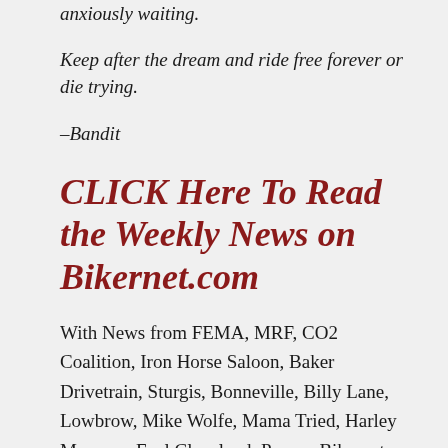anxiously waiting.
Keep after the dream and ride free forever or die trying.
–Bandit
CLICK Here To Read the Weekly News on Bikernet.com
With News from FEMA, MRF, CO2 Coalition, Iron Horse Saloon, Baker Drivetrain, Sturgis, Bonneville, Billy Lane, Lowbrow, Mike Wolfe, Mama Tried, Harley Museum, Fuel Cleveland, Pussar, Bikernet, Bandit's Cantina, J.J. Solari, Burma Shave, Climate Depot, Dutch Farmers,